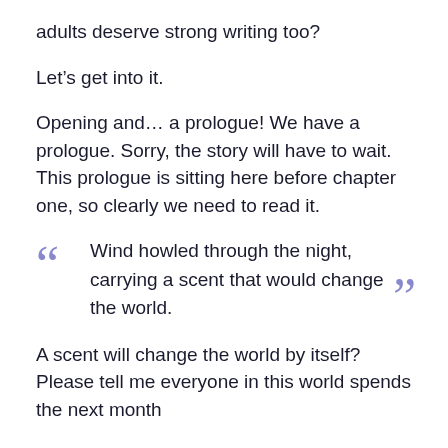adults deserve strong writing too?
Let’s get into it.
Opening and… a prologue! We have a prologue. Sorry, the story will have to wait. This prologue is sitting here before chapter one, so clearly we need to read it.
“Wind howled through the night, carrying a scent that would change the world.”
A scent will change the world by itself? Please tell me everyone in this world spends the next month